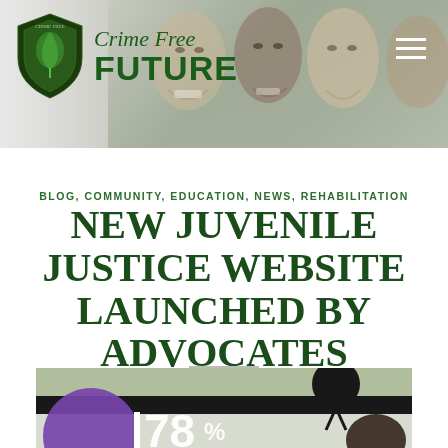Crime Free FUTURE
BLOG, COMMUNITY, EDUCATION, NEWS, REHABILITATION
NEW JUVENILE JUSTICE WEBSITE LAUNCHED BY ADVOCATES
[Figure (photo): A photograph showing what appears to be a Yahoo webpage or screen with '78%' visible, along with a person's silhouette]